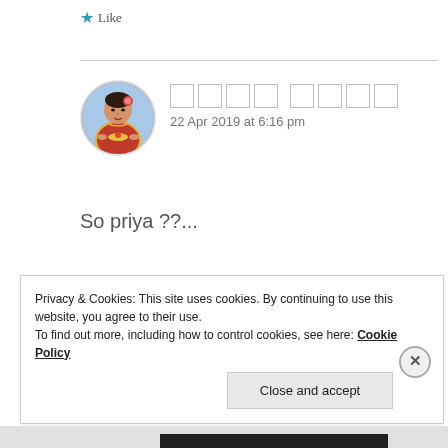★ Like
[Figure (photo): Circular avatar image of a woman in traditional Indian bridal attire with flowers in her hair, holding an offering plate]
□□□□ □□□□
22 Apr 2019 at 6:16 pm
So priya ??...
★ Like
Privacy & Cookies: This site uses cookies. By continuing to use this website, you agree to their use.
To find out more, including how to control cookies, see here: Cookie Policy
Close and accept